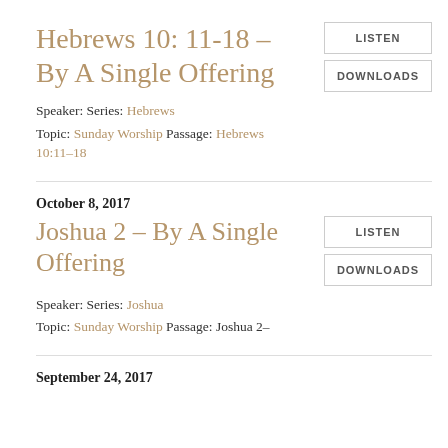Hebrews 10: 11-18 - By A Single Offering
Speaker: Series: Hebrews
Topic: Sunday Worship Passage: Hebrews 10:11–18
October 8, 2017
Joshua 2 - By A Single Offering
Speaker: Series: Joshua
Topic: Sunday Worship Passage: Joshua 2–
September 24, 2017